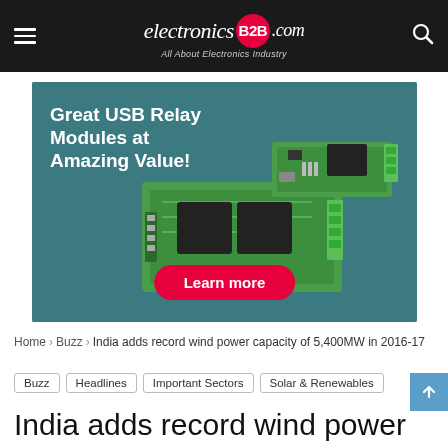electronicsB2B.com — All About Electronics Industry
[Figure (photo): Advertisement banner for USB Relay Modules showing green PCB circuit boards on a teal background with text 'Great USB Relay Modules at Amazing Value!' and a red 'Learn more' button.]
Home > Buzz > India adds record wind power capacity of 5,400MW in 2016-17
Buzz
Headlines
Important Sectors
Solar & Renewables
India adds record wind power